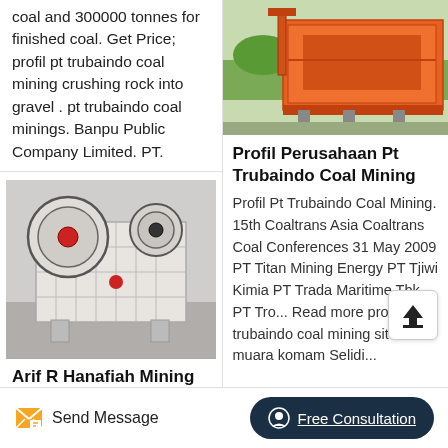coal and 300000 tonnes for finished coal. Get Price; profil pt trubaindo coal mining crushing rock into gravel . pt trubaindo coal minings. Banpu Public Company Limited. PT.
[Figure (photo): Industrial jaw crusher machine, white/beige colored, large heavy equipment on factory floor]
Arif R Hanafiah Mining
[Figure (photo): Orange colored industrial machine or mining equipment with large bucket/container, outdoor setting with trees in background]
Profil Perusahaan Pt Trubaindo Coal Mining
Profil Pt Trubaindo Coal Mining. 15th Coaltrans Asia Coaltrans Coal Conferences 31 May 2009 PT Titan Mining Energy PT Tjiwi Kimia PT Trada Maritime Tbk PT Tro... Read more profil trubaindo coal mining site muara komam Selidi...
Send Message
Free Consultation